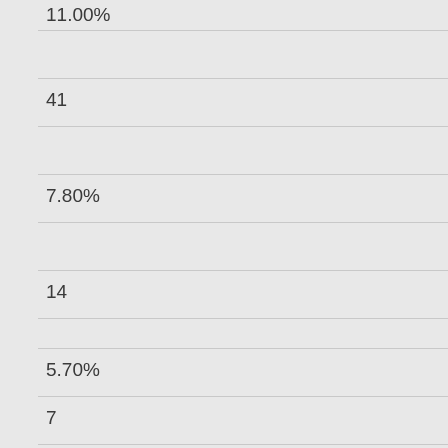| Miramar | ECC | Total |
| --- | --- | --- |
| 41 |  |  |
|  | 7.80% |  |
|  |  | 14 |
|  |  | 5.70% |
| 7 |  |  |
| 30.40% |  |  |